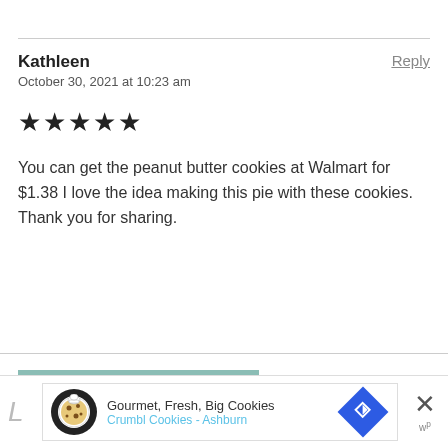Kathleen
Reply
October 30, 2021 at 10:23 am
★★★★★
You can get the peanut butter cookies at Walmart for $1.38 I love the idea making this pie with these cookies. Thank you for sharing.
Older Comments
[Figure (screenshot): Ad banner: Gourmet, Fresh, Big Cookies - Crumbl Cookies - Ashburn, with cookie logo, blue navigation arrow icon, and close button]